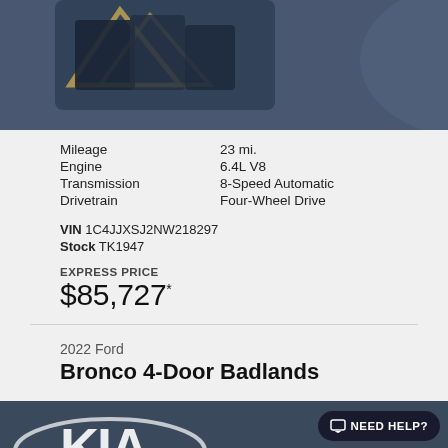[Figure (photo): Top portion of a vehicle badge/emblem photo on dark blue/gray background, partially cropped]
Mileage: 23 mi.
Engine: 6.4L V8
Transmission: 8-Speed Automatic
Drivetrain: Four-Wheel Drive
VIN 1C4JJXSJ2NW218297
Stock TK1947
EXPRESS PRICE
$85,727*
2022 Ford
Bronco 4-Door Badlands
[Figure (photo): Bottom portion of a Kia dealership image with Kia logo in white on dark background, with MARK KIA text visible]